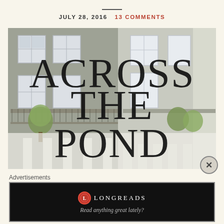JULY 28, 2016  13 COMMENTS
[Figure (photo): Photo of a London Georgian-style building facade with balconies and topiary trees, overlaid with large thin-font text reading ACROSS THE POND]
Advertisements
[Figure (screenshot): Longreads advertisement banner with dark background, Longreads logo and text 'Read anything great lately?']